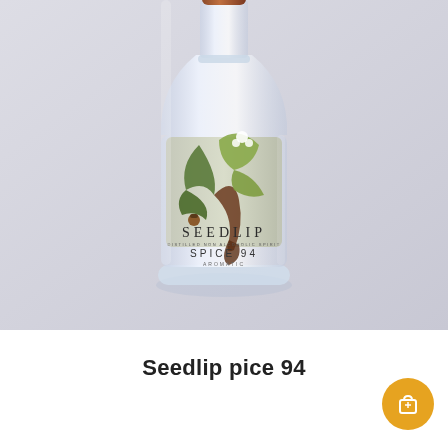[Figure (photo): Product photo of a Seedlip Spice 94 Aromatic non-alcoholic spirit bottle. The clear glass bottle has a copper/brown cap and a light grey-green label featuring an artistic botanical illustration of a fox-like creature made of leaves, flowers, and acorn elements in green and brown tones. The label reads 'SEEDLIP', 'DISTILLED NON ALCOHOLIC SPIRIT', 'SPICE 94', 'AROMATIC'. Background is a light grey-blue gradient.]
Seedlip pice 94